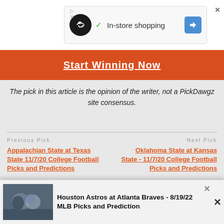[Figure (screenshot): Advertisement banner showing an infinity symbol logo, checkmark, 'In-store shopping' text, a navigation arrow icon, and a close button X]
[Figure (screenshot): Orange/red strip with text 'Start Winning Now' in white underlined bold]
The pick in this article is the opinion of the writer, not a PickDawgz site consensus.
Previous Pick
Appalachian State at Texas State 11/7/20 College Football Picks and Predictions
Next Pick
Oklahoma State at Kansas State - 11/7/20 College Football Picks and Predictions
AUTHOR: SHANE MICKLE
To Be Continued...
[Figure (photo): Baseball players photo at bottom left showing Houston Astros players]
Houston Astros at Atlanta Braves - 8/19/22 MLB Picks and Prediction